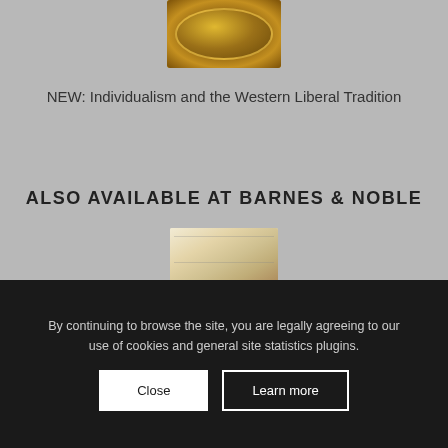[Figure (photo): Gold ornamental book cover with circular embossed medallion design, shown partially at top of page]
NEW: Individualism and the Western Liberal Tradition
ALSO AVAILABLE AT BARNES & NOBLE
[Figure (photo): Book cover of 'The Culture of Critique' by Kevin MacDonald showing aged parchment background with stylized title text and dark cityscape silhouette at bottom]
By continuing to browse the site, you are legally agreeing to our use of cookies and general site statistics plugins.